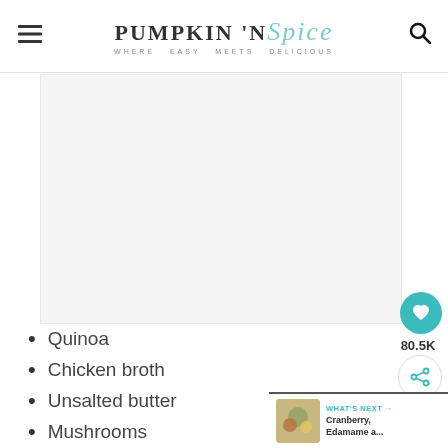PUMPKIN 'N Spice — WHERE EASY MEETS DELICIOUS
[Figure (photo): Food photo placeholder (gray area)]
Quinoa
Chicken broth
Unsalted butter
Mushrooms
Spinach